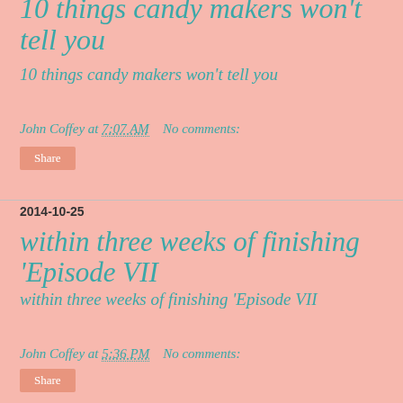10 things candy makers won't tell you
10 things candy makers won't tell you
John Coffey at 7:07 AM   No comments:
Share
2014-10-25
within three weeks of finishing 'Episode VII
within three weeks of finishing 'Episode VII
John Coffey at 5:36 PM   No comments:
Share
2014-10-23